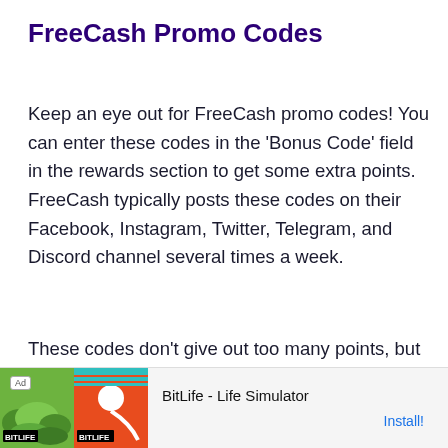FreeCash Promo Codes
Keep an eye out for FreeCash promo codes! You can enter these codes in the ‘Bonus Code’ field in the rewards section to get some extra points. FreeCash typically posts these codes on their Facebook, Instagram, Twitter, Telegram, and Discord channel several times a week.
These codes don’t give out too many points, but they do add up! Do note that only a limited number of people can use each code, so you’ll need to be quick.
[Figure (other): Advertisement banner for BitLife - Life Simulator app with an Install button]